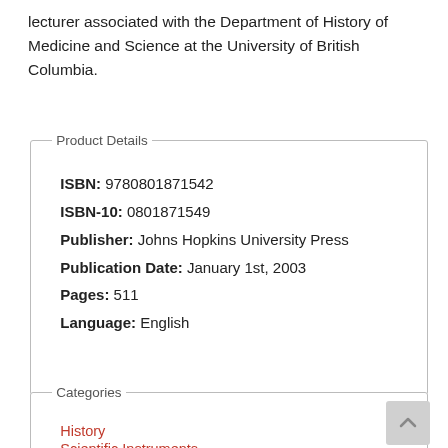lecturer associated with the Department of History of Medicine and Science at the University of British Columbia.
| Field | Value |
| --- | --- |
| ISBN | 9780801871542 |
| ISBN-10 | 0801871549 |
| Publisher | Johns Hopkins University Press |
| Publication Date | January 1st, 2003 |
| Pages | 511 |
| Language | English |
| Categories |
| --- |
| History |
| Scientific Instruments |